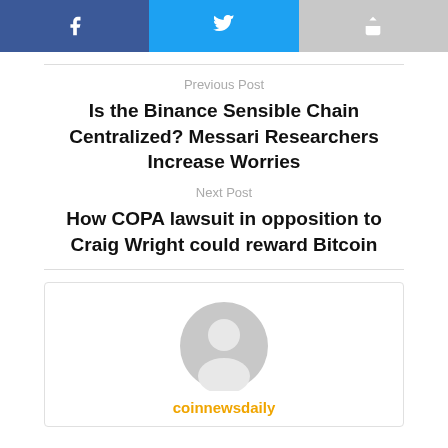[Figure (other): Social share buttons: Facebook (blue), Twitter (light blue), Share (grey)]
Previous Post
Is the Binance Sensible Chain Centralized? Messari Researchers Increase Worries
Next Post
How COPA lawsuit in opposition to Craig Wright could reward Bitcoin
[Figure (illustration): Default user avatar icon (grey circle with person silhouette)]
coinnewsdaily